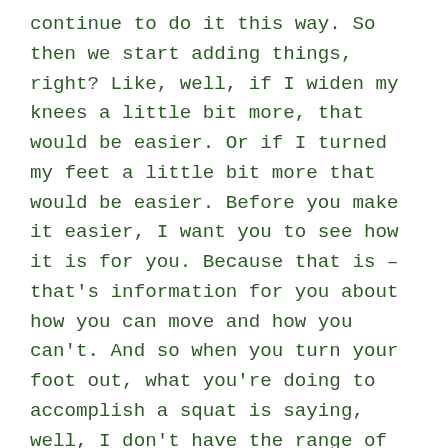continue to do it this way. So then we start adding things, right? Like, well, if I widen my knees a little bit more, that would be easier. Or if I turned my feet a little bit more that would be easier. Before you make it easier, I want you to see how it is for you. Because that is – that's information for you about how you can move and how you can't. And so when you turn your foot out, what you're doing to accomplish a squat is saying, well, I don't have the range of motion right now in my lower leg to do it, so I will remove the participation of my lower leg from this squatting bout. What you're also saying – but what you don't realize, is – and therefore, I will strengthen this current shape of my body. And when